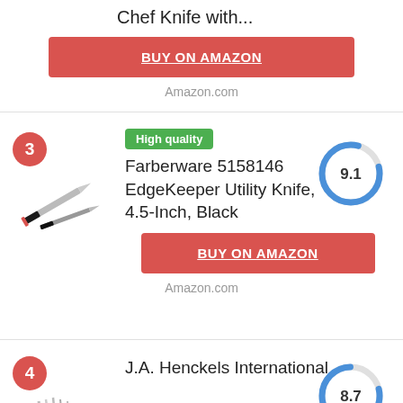Chef Knife with...
BUY ON AMAZON
Amazon.com
3
[Figure (photo): Farberware utility knife product photo]
High quality
Farberware 5158146 EdgeKeeper Utility Knife, 4.5-Inch, Black
[Figure (donut-chart): Score]
BUY ON AMAZON
Amazon.com
4
[Figure (photo): J.A. Henckels knife block set product photo]
J.A. Henckels International Statement 14-pc Self-Sharpening Knife Block Set
[Figure (donut-chart): Score]